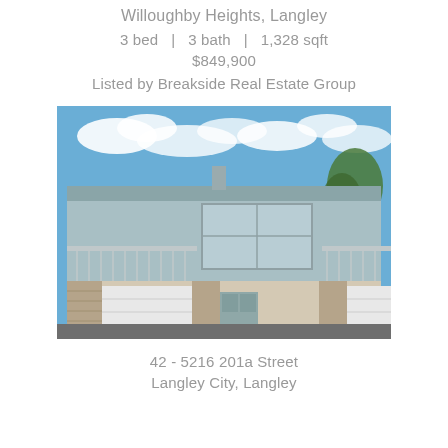Willoughby Heights, Langley
3 bed  |  3 bath  |  1,328 sqft
$849,900
Listed by Breakside Real Estate Group
[Figure (photo): Exterior photo of a two-story townhouse with blue siding, white garage doors, stone accents, and a balcony, under a partly cloudy blue sky.]
42 - 5216 201a Street
Langley City, Langley